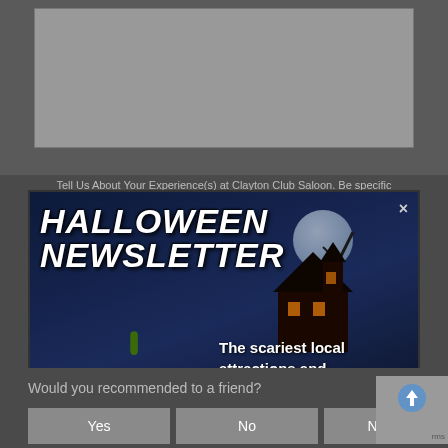[Figure (screenshot): Top portion of a web form with a gray textarea for user input]
Tell Us About Your Experience(s) at Clayton Club Saloon. Be specific
[Figure (infographic): Halloween newsletter popup modal with dark blue/black haunted Halloween background, glowing jack-o-lantern pumpkin on left, haunted house silhouette, moon. Title reads HALLOWEEN NEWSLETTER with a close X button. Description text: The scariest local attractions and Halloween news to your inbox all season long. Subtitle: California Edition. Email input field with placeholder [your email] and orange Join button.]
Would you recommended to a friend?
Yes
No
Not Sure